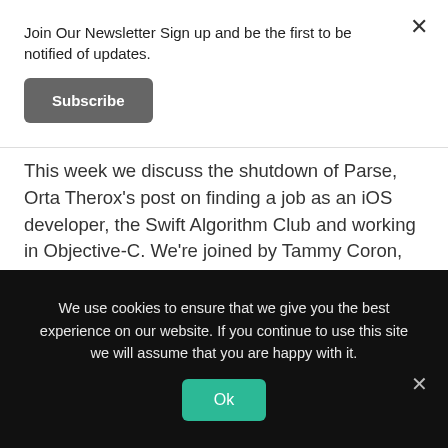Join Our Newsletter Sign up and be the first to be notified of updates.
Subscribe
This week we discuss the shutdown of Parse, Orta Therox's post on finding a job as an iOS developer, the Swift Algorithm Club and working in Objective-C. We're joined by Tammy Coron, who is a developer and all around creative person. We do discuss Star Wars and try not to spoil it. We also touch on developer conferences coming in 2016. Picks: Pomo.tv, Android Study Jams, 360|Andev, X-Files season 10, IndieDevStock and NSNorth.
We use cookies to ensure that we give you the best experience on our website. If you continue to use this site we will assume that you are happy with it.
Ok